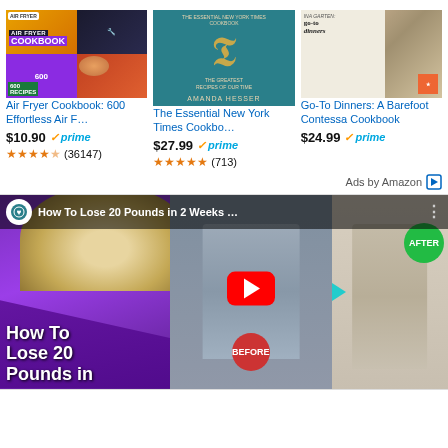[Figure (screenshot): Amazon advertisement section showing three cookbook listings with covers, prices, Prime badges, and star ratings]
Air Fryer Cookbook: 600 Effortless Air F…
$10.90 ✓prime ★★★★☆ (36147)
The Essential New York Times Cookbo…
$27.99 ✓prime ★★★★★ (713)
Go-To Dinners: A Barefoot Contessa Cookbook
$24.99 ✓prime
Ads by Amazon
[Figure (screenshot): YouTube video thumbnail: 'How To Lose 20 Pounds in 2 Weeks ...' showing before and after weight loss photos with a smoothie, play button, BEFORE and AFTER labels]